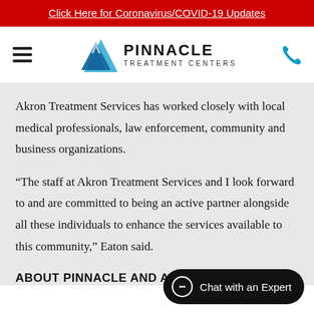Click Here for Coronavirus/COVID-19 Updates
[Figure (logo): Pinnacle Treatment Centers logo with mountain graphic and text PINNACLE TREATMENT CENTERS]
Akron Treatment Services has worked closely with local medical professionals, law enforcement, community and business organizations.
“The staff at Akron Treatment Services and I look forward to and are committed to being an active partner alongside all these individuals to enhance the services available to this community,” Eaton said.
ABOUT PINNACLE AND AKRON TRE…